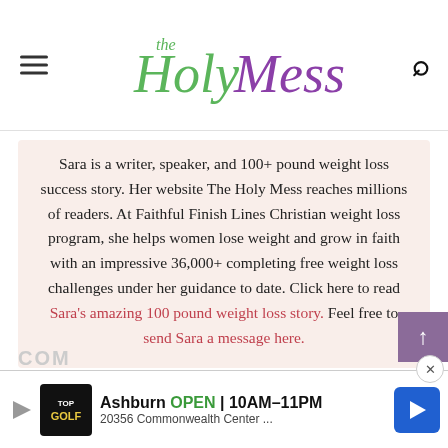The Holy Mess
Sara is a writer, speaker, and 100+ pound weight loss success story. Her website The Holy Mess reaches millions of readers. At Faithful Finish Lines Christian weight loss program, she helps women lose weight and grow in faith with an impressive 36,000+ completing free weight loss challenges under her guidance to date. Click here to read Sara's amazing 100 pound weight loss story. Feel free to send Sara a message here.
[Figure (other): Advertisement banner: TopGolf Ashburn OPEN 10AM-11PM, 20356 Commonwealth Center...]